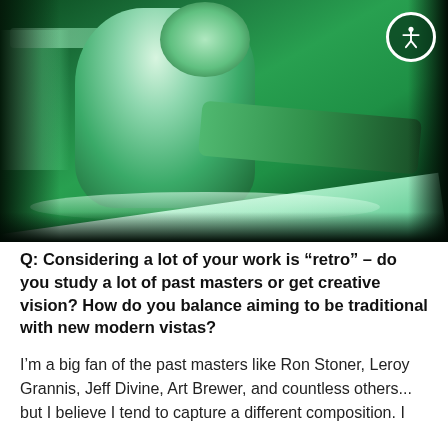[Figure (photo): Green-tinted photo of a person wearing a white t-shirt and face mask, bent over and working on a surfboard in what appears to be a shaping room. The image has a strong green color cast. An accessibility icon (white figure in circle) is overlaid in the top-right corner.]
Q: Considering a lot of your work is “retro” – do you study a lot of past masters or get creative vision? How do you balance aiming to be traditional with new modern vistas?
I’m a big fan of the past masters like Ron Stoner, Leroy Grannis, Jeff Divine, Art Brewer, and countless others... but I believe I tend to capture a different composition. I